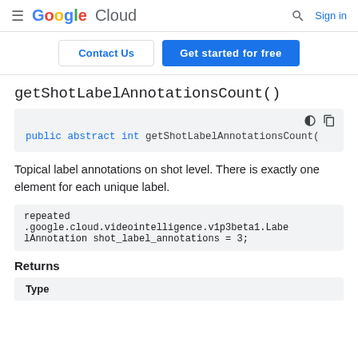Google Cloud  [search]  Sign in
Contact Us  Get started for free
getShotLabelAnnotationsCount()
public abstract int getShotLabelAnnotationsCount(
Topical label annotations on shot level. There is exactly one element for each unique label.
repeated .google.cloud.videointelligence.v1p3beta1.LabelAnnotation shot_label_annotations = 3;
Returns
| Type |
| --- |